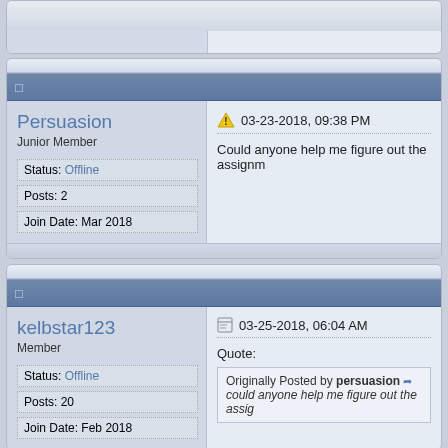[Figure (screenshot): Forum post by user 'Persuasion', Junior Member. Posted 03-23-2018, 09:38 PM. Text: 'Could anyone help me figure out the assignm...' Status: Offline, Posts: 2, Join Date: Mar 2018.]
[Figure (screenshot): Forum post by user 'kelbstar123', Member. Posted 03-25-2018, 06:04 AM. Contains a quote 'Originally Posted by persuasion: could anyone help me figure out the assig...' Status: Offline, Posts: 20, Join Date: Feb 2018.]